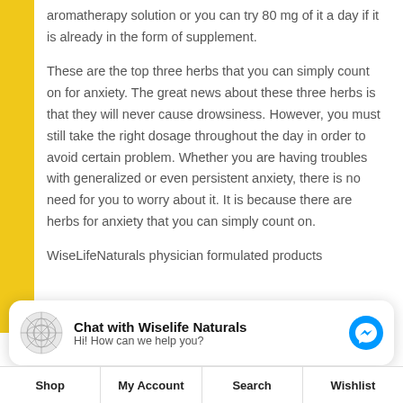aromatherapy solution or you can try 80 mg of it a day if it is already in the form of supplement.
These are the top three herbs that you can simply count on for anxiety. The great news about these three herbs is that they will never cause drowsiness. However, you must still take the right dosage throughout the day in order to avoid certain problem. Whether you are having troubles with generalized or even persistent anxiety, there is no need for you to worry about it. It is because there are herbs for anxiety that you can simply count on.
WiseLifeNaturals physician formulated products
[Figure (screenshot): Chat with Wiselife Naturals widget — logo on left, title 'Chat with Wiselife Naturals', subtitle 'Hi! How can we help you?', Messenger icon on right]
Shop | My Account | Search | Wishlist